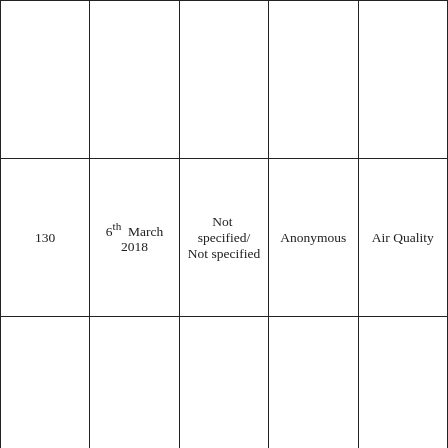|  |  |  |  |  |
| 130 | 6th March 2018 | Not specified/ Not specified | Anonymous | Air Quality |
|  |  |  |  |  |